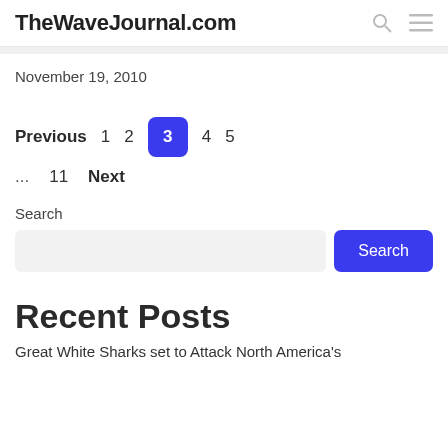TheWaveJournal.com
November 19, 2010
Previous  1  2  3  4  5  ...  11  Next
Search
Recent Posts
Great White Sharks set to Attack North America's